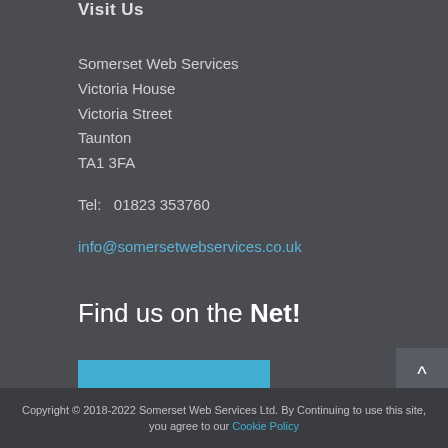Visit Us
Somerset Web Services
Victoria House
Victoria Street
Taunton
TA1 3FA
Tel:   01823 353760
info@somersetwebservices.co.uk
Find us on the Net!
[Figure (other): Social media icons bar with Facebook (f), Twitter (t), and LinkedIn (in) icons on a blue background]
Copyright © 2018-2022 Somerset Web Services Ltd. By Continuing to use this site, you agree to our Cookie Policy